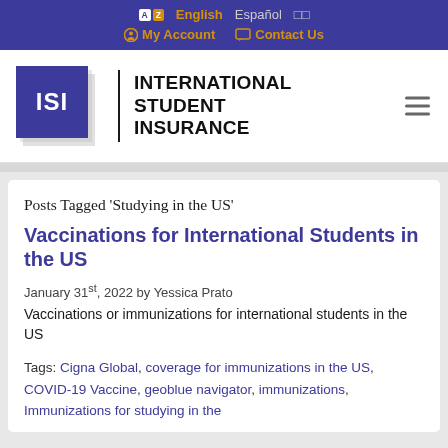A Z   English   Español   □□   My Account   Contact Us
[Figure (logo): International Student Insurance (ISI) logo — blue square with ISI text, vertical divider, and INTERNATIONAL STUDENT INSURANCE wordmark]
Posts Tagged 'Studying in the US'
Vaccinations for International Students in the US
January 31st, 2022 by Yessica Prato
Vaccinations or immunizations for international students in the US
Tags: Cigna Global, coverage for immunizations in the US, COVID-19 Vaccine, geoblue navigator, immunizations, Immunizations for studying in the